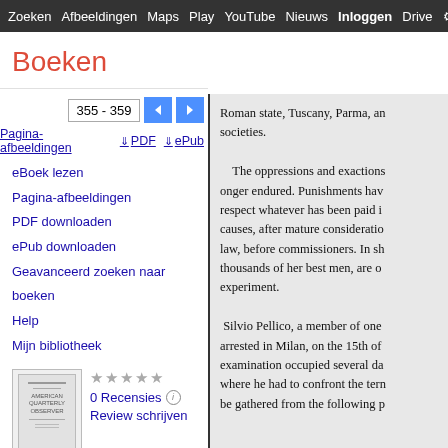Zoeken  Afbeeldingen  Maps  Play  YouTube  Nieuws  Inloggen  Drive  M
Boeken
355 - 359
Pagina-afbeeldingen  ↓ PDF  ↓ ePub
eBoek lezen
Pagina-afbeeldingen
PDF downloaden
ePub downloaden
Geavanceerd zoeken naar boeken
Help
Mijn bibliotheek
[Figure (illustration): Thumbnail of book cover for The American Quarterly Observer, Volume 1]
★★★★★
0 Recensies ⓘ
Review schrijven
The American Quarterly Observer, Volume 1
Roman state, Tuscany, Parma, an societies.

    The oppressions and exactions longer endured. Punishments hav respect whatever has been paid i causes, after mature consideratio law, before commissioners. In sh thousands of her best men, are o experiment.

 Silvio Pellico, a member of one arrested in Milan, on the 15th of examination occupied several da where he had to confront the tern be gathered from the following p